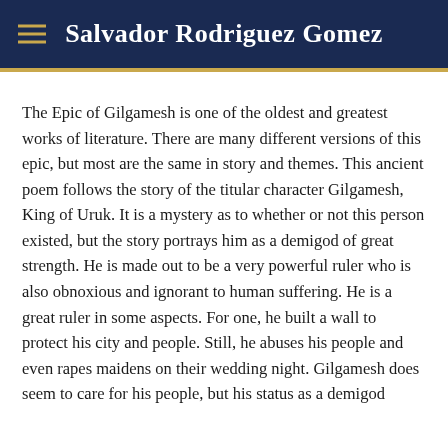Salvador Rodriguez Gomez
The Epic of Gilgamesh is one of the oldest and greatest works of literature. There are many different versions of this epic, but most are the same in story and themes. This ancient poem follows the story of the titular character Gilgamesh, King of Uruk. It is a mystery as to whether or not this person existed, but the story portrays him as a demigod of great strength. He is made out to be a very powerful ruler who is also obnoxious and ignorant to human suffering. He is a great ruler in some aspects. For one, he built a wall to protect his city and people. Still, he abuses his people and even rapes maidens on their wedding night. Gilgamesh does seem to care for his people, but his status as a demigod